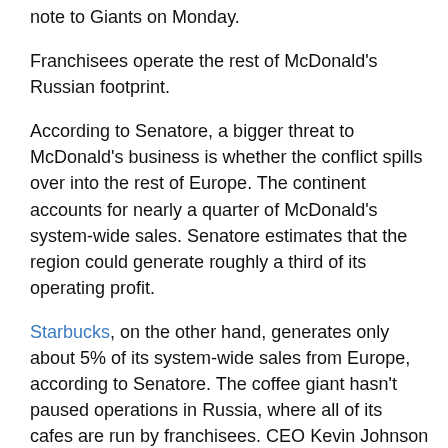note to Giants on Monday.
Franchisees operate the rest of McDonald's Russian footprint.
According to Senatore, a bigger threat to McDonald's business is whether the conflict spills over into the rest of Europe. The continent accounts for nearly a quarter of McDonald's system-wide sales. Senatore estimates that the region could generate roughly a third of its operating profit.
Starbucks, on the other hand, generates only about 5% of its system-wide sales from Europe, according to Senatore. The coffee giant hasn't paused operations in Russia, where all of its cafes are run by franchisees. CEO Kevin Johnson condemned the Russian attack on Ukraine and vowed to donate royalties from its Russian business to humanitarian causes in Ukraine.